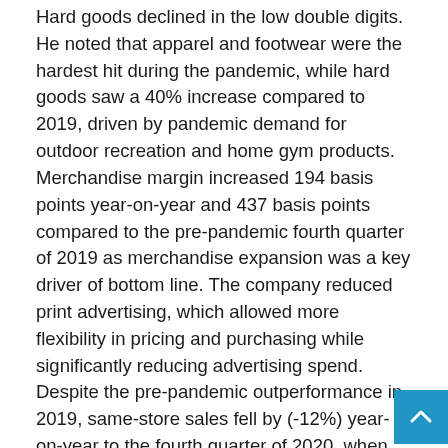Hard goods declined in the low double digits. He noted that apparel and footwear were the hardest hit during the pandemic, while hard goods saw a 40% increase compared to 2019, driven by pandemic demand for outdoor recreation and home gym products. Merchandise margin increased 194 basis points year-on-year and 437 basis points compared to the pre-pandemic fourth quarter of 2019 as merchandise expansion was a key driver of bottom line. The company reduced print advertising, which allowed more flexibility in pricing and purchasing while significantly reducing advertising spend. Despite the pre-pandemic outperformance in 2019, same-store sales fell by (-12%) year-on-year to the fourth quarter of 2020, when same-store sales increased by 31.8%. He concluded: “Looking ahead to March we face very challenging competition from last year when sales benefited greatly as COVID restrictions eased and there was a resumption of in-person school classes and sports leagues and stimulus distribution Checks gave.”